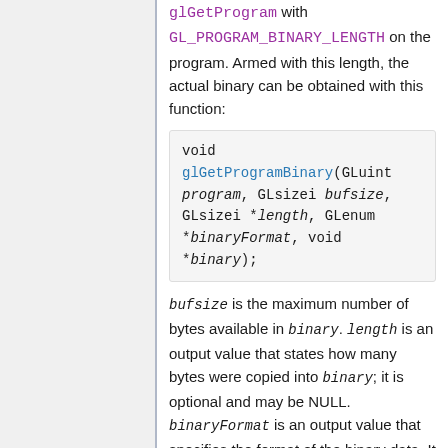glGetProgram with GL_PROGRAM_BINARY_LENGTH on the program. Armed with this length, the actual binary can be obtained with this function:
bufsize is the maximum number of bytes available in binary. length is an output value that states how many bytes were copied into binary; it is optional and may be NULL. binaryFormat is an output value that specifies the format of the binary data. It is not optional, and it must be stored alongside the actual binary data.